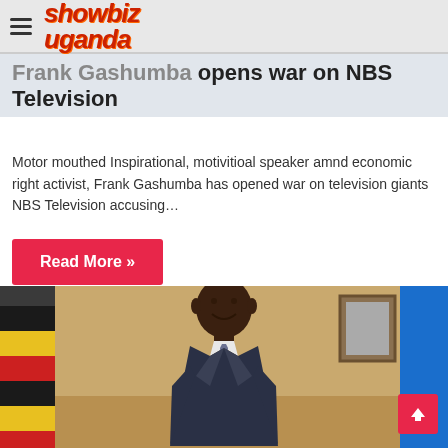showbiz uganda
Frank Gashumba opens war on NBS Television
Motor mouthed Inspirational, motivitioal speaker amnd economic right activist, Frank Gashumba has opened war on television giants NBS Television accusing…
Read More »
[Figure (photo): Photo of a man in a suit smiling, seated in an office setting with flags visible in the background]